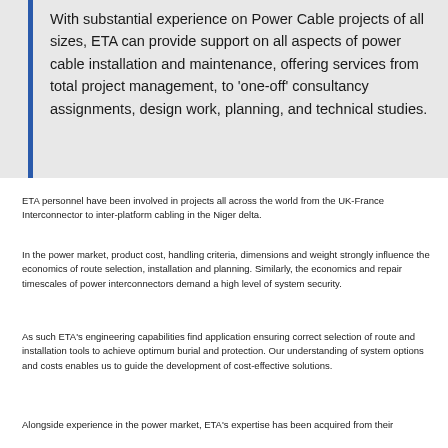With substantial experience on Power Cable projects of all sizes, ETA can provide support on all aspects of power cable installation and maintenance, offering services from total project management, to 'one-off' consultancy assignments, design work, planning, and technical studies.
ETA personnel have been involved in projects all across the world from the UK-France Interconnector to inter-platform cabling in the Niger delta.
In the power market, product cost, handling criteria, dimensions and weight strongly influence the economics of route selection, installation and planning. Similarly, the economics and repair timescales of power interconnectors demand a high level of system security.
As such ETA's engineering capabilities find application ensuring correct selection of route and installation tools to achieve optimum burial and protection. Our understanding of system options and costs enables us to guide the development of cost-effective solutions.
Alongside experience in the power market, ETA's expertise has been acquired from their